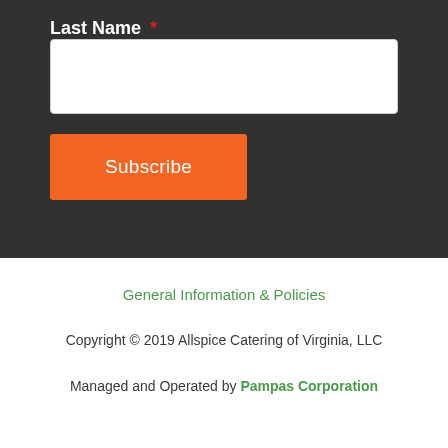Last Name *
Subscribe
General Information & Policies
Copyright © 2019 Allspice Catering of Virginia, LLC
Managed and Operated by Pampas Corporation